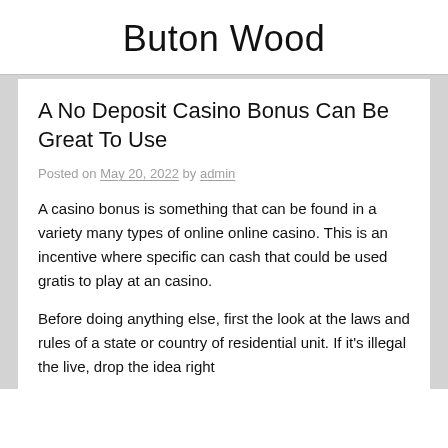Buton Wood
A No Deposit Casino Bonus Can Be Great To Use
Posted on May 20, 2022 by admin
A casino bonus is something that can be found in a variety many types of online online casino. This is an incentive where specific can cash that could be used gratis to play at an casino.
Before doing anything else, first the look at the laws and rules of a state or country of residential unit. If it's illegal the live, drop the idea right